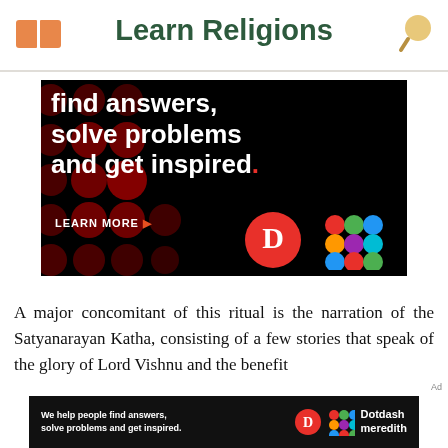Learn Religions
[Figure (photo): Advertisement banner with black background showing dark red dots pattern, white bold text reading 'find answers, solve problems and get inspired.' with an orange-red period, 'LEARN MORE' button with orange arrow, and Dotdash Meredith logos]
A major concomitant of this ritual is the narration of the Satyanarayan Katha, consisting of a few stories that speak of the glory of Lord Vishnu and the benefit
[Figure (photo): Bottom advertisement banner for Dotdash Meredith with text 'We help people find answers, solve problems and get inspired.' with company logos]